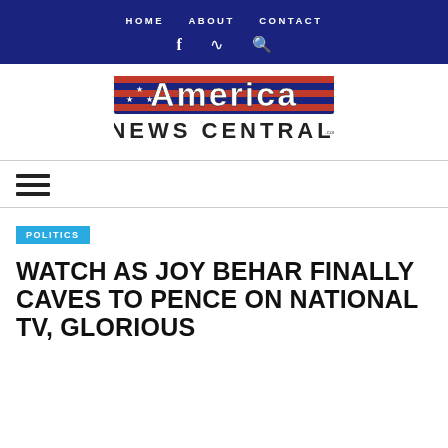HOME   ABOUT   CONTACT
[Figure (logo): America News Central logo with red, white and blue stylized text and stars]
≡ (hamburger menu icon)
POLITICS
WATCH AS JOY BEHAR FINALLY CAVES TO PENCE ON NATIONAL TV, GLORIOUS